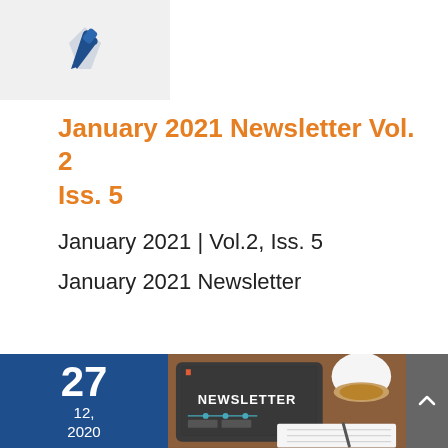[Figure (logo): Blue pen/quill icon on light grey background]
January 2021 Newsletter Vol. 2 Iss. 5
January 2021 | Vol.2, Iss. 5
January 2021 Newsletter
[Figure (photo): Blue date box showing 27, 12, 2020 next to a photo of a tablet with NEWSLETTER text on chalkboard with coffee cup, notebook, and pen; grey scroll-to-top button]